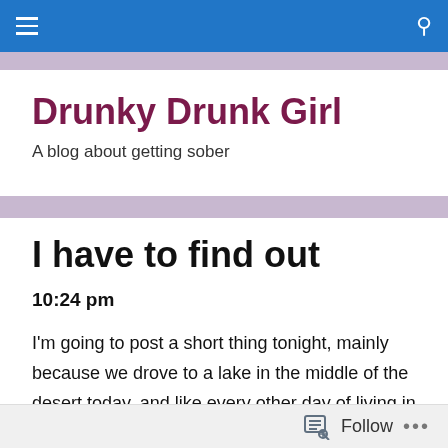Drunky Drunk Girl — navigation bar
Drunky Drunk Girl
A blog about getting sober
I have to find out
10:24 pm
I'm going to post a short thing tonight, mainly because we drove to a lake in the middle of the desert today, and like every other day of living in said desert, I was completely dehydrated.  It's not easy living here, and we are longing for life in not necessarily even the tropics again, but
Follow